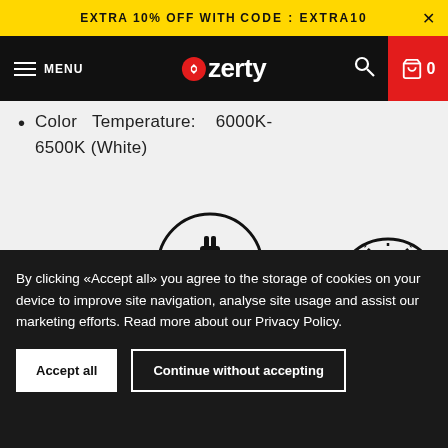EXTRA 10% OFF WITH CODE : EXTRA10
MENU | Ozerty | 0
Color Temperature: 6000K-6500K (White)
[Figure (illustration): Product feature icons: plug/power icon in circle, LED bulb icon in circle with light rays, hands installing icon in circle, lamp shade shape with finger pointing]
By clicking «Accept all» you agree to the storage of cookies on your device to improve site navigation, analyse site usage and assist our marketing efforts. Read more about our Privacy Policy.
Accept all | Continue without accepting